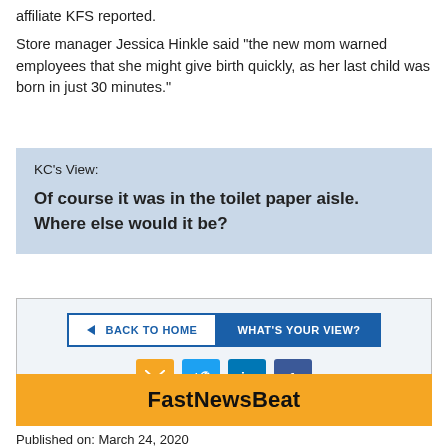affiliate KFS reported.
Store manager Jessica Hinkle said "the new mom warned employees that she might give birth quickly, as her last child was born in just 30 minutes."
KC's View:
Of course it was in the toilet paper aisle.  Where else would it be?
[Figure (screenshot): Navigation buttons: BACK TO HOME and WHAT'S YOUR VIEW?, plus social media share icons for email, Twitter, LinkedIn, and Facebook]
FastNewsBeat
Published on: March 24, 2020